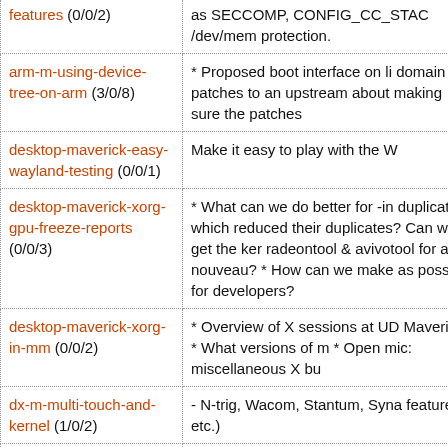| Blueprint | Description |
| --- | --- |
| features (0/0/2) | as SECCOMP, CONFIG_CC_STAC /dev/mem protection. |
| arm-m-using-device-tree-on-arm (3/0/8) | * Proposed boot interface on li domain patches to an upstrea about making sure the patches |
| desktop-maverick-easy-wayland-testing (0/0/1) | Make it easy to play with the W |
| desktop-maverick-xorg-gpu-freeze-reports (0/0/3) | * What can we do better for -in duplicates, which reduced thei duplicates? Can we get the ker radeontool & avivotool for ati c nouveau? * How can we make as possible for developers? |
| desktop-maverick-xorg-in-mm (0/0/2) | * Overview of X sessions at UD Maverick? * What versions of m * Open mic: miscellaneous X bu |
| dx-m-multi-touch-and-kernel (1/0/2) | - N-trig, Wacom, Stantum, Syna features, etc.) |
| foundations-m-btrfs-support (0/0/2) | We need to know what pieces w support for this with the usual c |
| foundations-m-grub2-... | GRUB2 supports programming it, causing the kernel to use |